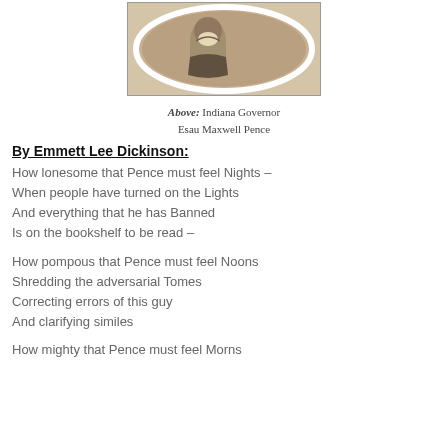[Figure (photo): Oval portrait photograph of Indiana Governor Esau Maxwell Pence, sepia-toned, showing a person in 19th century attire]
Above: Indiana Governor Esau Maxwell Pence
By Emmett Lee Dickinson:
How lonesome that Pence must feel Nights –
When people have turned on the Lights
And everything that he has Banned
Is on the bookshelf to be read –
How pompous that Pence must feel Noons
Shredding the adversarial Tomes
Correcting errors of this guy
And clarifying similes
How mighty that Pence must feel Morns